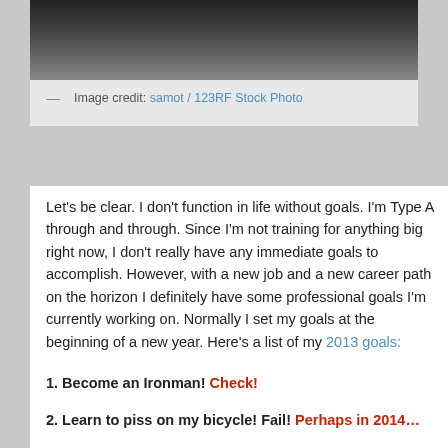[Figure (photo): Black and white photograph of a grassy field or landscape]
— Image credit: samot / 123RF Stock Photo
Let's be clear. I don't function in life without goals. I'm Type A through and through. Since I'm not training for anything big right now, I don't really have any immediate goals to accomplish. However, with a new job and a new career path on the horizon I definitely have some professional goals I'm currently working on. Normally I set my goals at the beginning of a new year. Here's a list of my 2013 goals:
1. Become an Ironman! Check!
2. Learn to piss on my bicycle! Fail! Perhaps in 2014…
3. Increase my bike fitness and finally achieve the perfect VI so I can get an A from my coach! I definitely